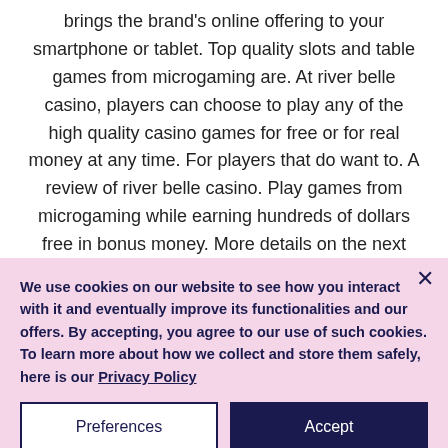brings the brand's online offering to your smartphone or tablet. Top quality slots and table games from microgaming are. At river belle casino, players can choose to play any of the high quality casino games for free or for real money at any time. For players that do want to. A review of river belle casino. Play games from microgaming while earning hundreds of dollars free in bonus money. More details on the next page. Promotions: welcome bonus, free spins, cashback. Slot players at river belle casino can get loyalty points from every game they played. The sto...
We use cookies on our website to see how you interact with it and eventually improve its functionalities and our offers. By accepting, you agree to our use of such cookies. To learn more about how we collect and store them safely, here is our Privacy Policy
Preferences
Accept